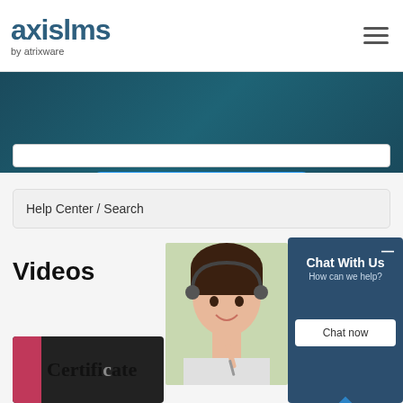[Figure (logo): axislms by atrixware logo in dark teal/blue color]
[Figure (screenshot): Blue search button on dark teal banner background]
Help Center / Search
Videos
[Figure (photo): Customer service woman wearing a headset, smiling]
[Figure (screenshot): Chat With Us widget - How can we help? with Chat now button]
[Figure (screenshot): Video card showing Certificate text at the bottom of the page]